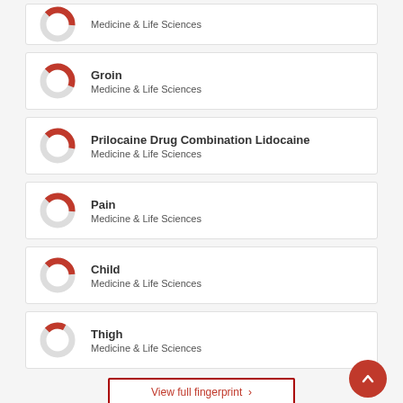Medicine & Life Sciences
Groin
Medicine & Life Sciences
Prilocaine Drug Combination Lidocaine
Medicine & Life Sciences
Pain
Medicine & Life Sciences
Child
Medicine & Life Sciences
Thigh
Medicine & Life Sciences
View full fingerprint ›